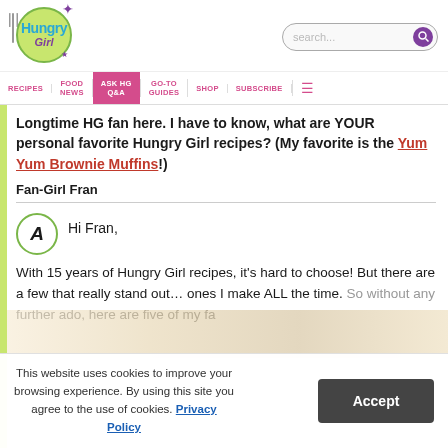Hungry Girl — website header with logo, search bar, and navigation (RECIPES | FOOD NEWS | ASK HG Q&A | GO-TO GUIDES | SHOP | SUBSCRIBE)
Longtime HG fan here. I have to know, what are YOUR personal favorite Hungry Girl recipes? (My favorite is the Yum Yum Brownie Muffins!)
Fan-Girl Fran
Hi Fran,
With 15 years of Hungry Girl recipes, it's hard to choose! But there are a few that really stand out… ones I make ALL the time. So without any further ado, here are five of my fa…
This website uses cookies to improve your browsing experience. By using this site you agree to the use of cookies. Privacy Policy